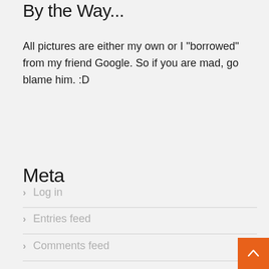By the Way...
All pictures are either my own or I "borrowed" from my friend Google. So if you are mad, go blame him. :D
Meta
Log in
Entries feed
Comments feed